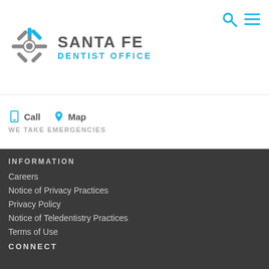[Figure (logo): Santa Fe Dentist Office logo — starburst/snowflake shape in gray and blue with spiky petals]
SANTA FE
DENTIST OFFICE
Call   Map
WE TAKE EMERGENCIES
SCHEDULE TODAY!
INFORMATION
Careers
Notice of Privacy Practices
Privacy Policy
Notice of Teledentistry Practices
Terms of Use
Notice of Non-Discrimination
Site Map
CONNECT